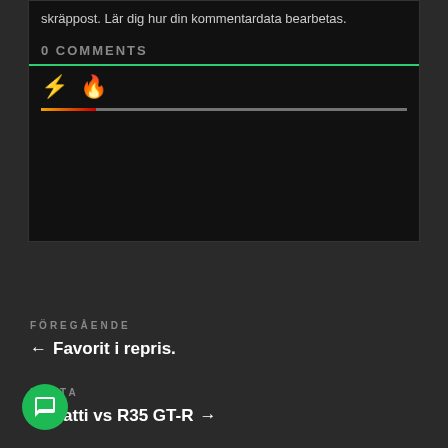skräppost. Lär dig hur din kommentardata bearbetas.
0 COMMENTS
[Figure (screenshot): Comment section widget with bolt and fire icons and a progress bar]
FÖREGÅENDE
← Favorit i repris.
NÄSTA
Bugatti vs R35 GT-R →
[Figure (other): Green circular chat/message button in bottom left corner]